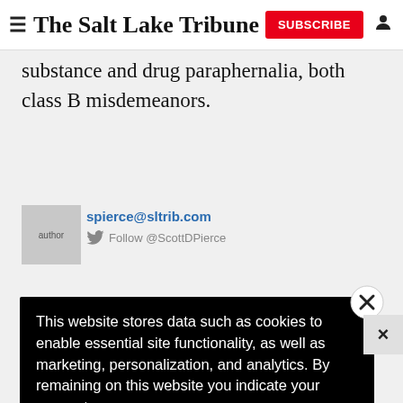The Salt Lake Tribune | SUBSCRIBE
substance and drug paraphernalia, both class B misdemeanors.
[Figure (photo): Author photo placeholder]
spierce@sltrib.com
Follow @ScottDPierce
This website stores data such as cookies to enable essential site functionality, as well as marketing, personalization, and analytics. By remaining on this website you indicate your consent.
Data Storage Policy